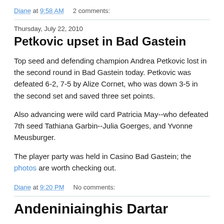Diane at 9:58 AM    2 comments:
Thursday, July 22, 2010
Petkovic upset in Bad Gastein
Top seed and defending champion Andrea Petkovic lost in the second round in Bad Gastein today. Petkovic was defeated 6-2, 7-5 by Alize Cornet, who was down 3-5 in the second set and saved three set points.
Also advancing were wild card Patricia May--who defeated 7th seed Tathiana Garbin--Julia Goerges, and Yvonne Meusburger.
The player party was held in Casino Bad Gastein; the photos are worth checking out.
Diane at 9:20 PM    No comments:
Andeniniainghis Dartar